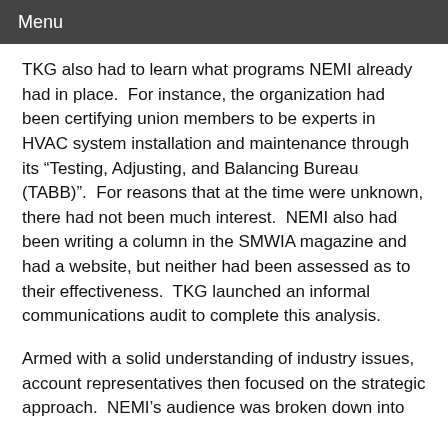Menu
TKG also had to learn what programs NEMI already had in place.  For instance, the organization had been certifying union members to be experts in HVAC system installation and maintenance through its “Testing, Adjusting, and Balancing Bureau (TABB)”.  For reasons that at the time were unknown, there had not been much interest.  NEMI also had been writing a column in the SMWIA magazine and had a website, but neither had been assessed as to their effectiveness.  TKG launched an informal communications audit to complete this analysis.
Armed with a solid understanding of industry issues, account representatives then focused on the strategic approach.  NEMI’s audience was broken down into